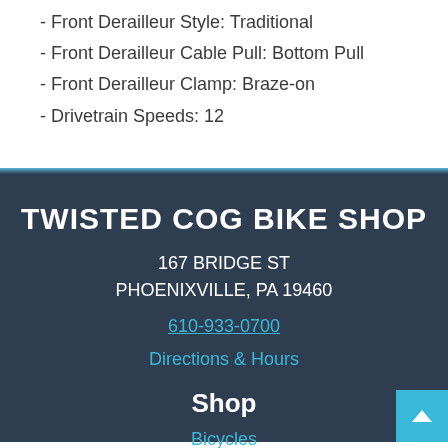- Front Derailleur Style: Traditional
- Front Derailleur Cable Pull: Bottom Pull
- Front Derailleur Clamp: Braze-on
- Drivetrain Speeds: 12
TWISTED COG BIKE SHOP
167 BRIDGE ST
PHOENIXVILLE, PA 19460
610-933-0700
Directions & Hours
Shop
Bicycles